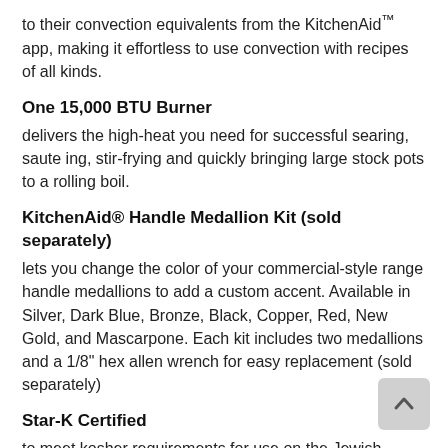to their convection equivalents from the KitchenAid™ app, making it effortless to use convection with recipes of all kinds.
One 15,000 BTU Burner
delivers the high-heat you need for successful searing, sauteing, stir-frying and quickly bringing large stock pots to a rolling boil.
KitchenAid® Handle Medallion Kit (sold separately)
lets you change the color of your commercial-style range handle medallions to add a custom accent. Available in Silver, Dark Blue, Bronze, Black, Copper, Red, New Gold, and Mascarpone. Each kit includes two medallions and a 1/8" hex allen wrench for easy replacement (sold separately)
Star-K Certified
to meet kosher requirements for use on the Jewish Sabbath and other religious holidays. When in Sabbath Mode, the oven remains in baking mode at a constant temperature with lights, displays and tones disabled.